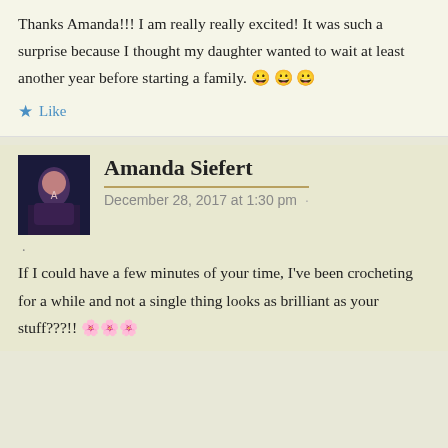Thanks Amanda!!! I am really really excited! It was such a surprise because I thought my daughter wanted to wait at least another year before starting a family. 😀 😀 😀
★ Like
Amanda Siefert
December 28, 2017 at 1:30 pm ·
If I could have a few minutes of your time, I've been crocheting for a while and not a single thing looks as brilliant as your stuff???!! 🌸🌸🌸